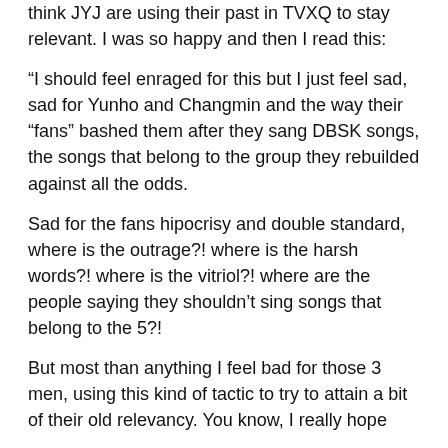think JYJ are using their past in TVXQ to stay relevant. I was so happy and then I read this:
“I should feel enraged for this but I just feel sad, sad for Yunho and Changmin and the way their “fans” bashed them after they sang DBSK songs, the songs that belong to the group they rebuilded against all the odds.
Sad for the fans hipocrisy and double standard, where is the outrage?! where is the harsh words?! where is the vitriol?! where are the people saying they shouldn’t sing songs that belong to the 5?!
But most than anything I feel bad for those 3 men, using this kind of tactic to try to attain a bit of their old relevancy. You know, I really hope